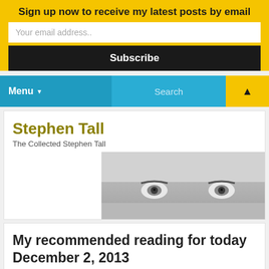Sign up now to receive my latest posts by email
Your email address..
Subscribe
Menu  Search
Stephen Tall
The Collected Stephen Tall
[Figure (photo): Close-up black and white photo of a man's eyes and forehead]
My recommended reading for today December 2, 2013
Posted by Stephen Tall